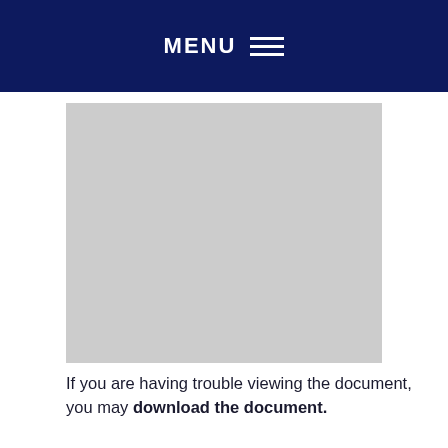MENU
[Figure (other): Gray placeholder rectangle representing an embedded document viewer]
If you are having trouble viewing the document, you may download the document.